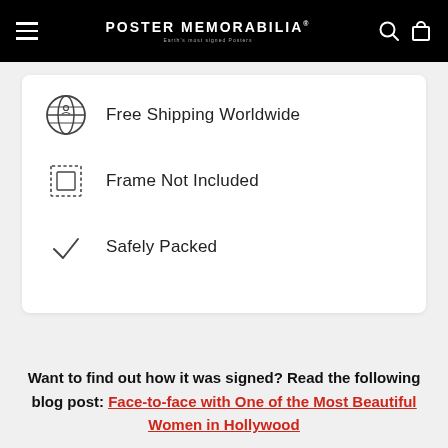POSTER MEMORABILIA
Free Shipping Worldwide
Frame Not Included
Safely Packed
Want to find out how it was signed? Read the following blog post: Face-to-face with One of the Most Beautiful Women in Hollywood